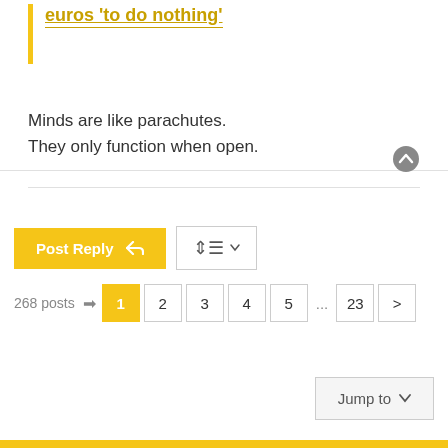euros 'to do nothing'
Minds are like parachutes.
They only function when open.
Post Reply
268 posts  1  2  3  4  5  ...  23  >
Jump to